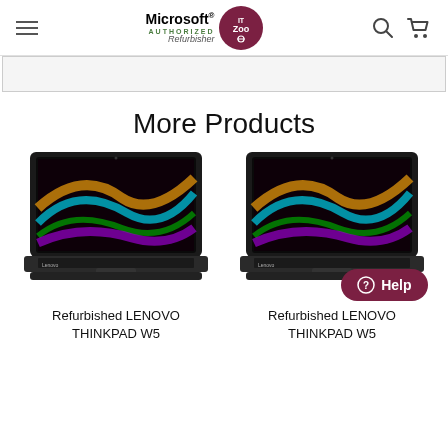Microsoft Authorized Refurbisher — IT Zoo — Navigation header with hamburger menu, logo, search and cart icons
More Products
[Figure (photo): Lenovo ThinkPad W5 laptop product photo, open, showing colorful light streaks wallpaper on dark screen]
[Figure (photo): Lenovo ThinkPad W5 laptop product photo, open, showing colorful light streaks wallpaper on dark screen]
Refurbished LENOVO THINKPAD W5
Refurbished LENOVO THINKPAD W5